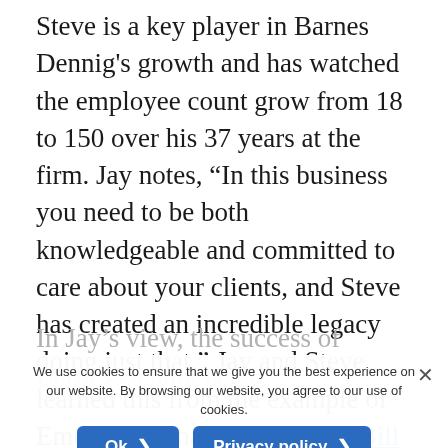Steve is a key player in Barnes Dennig's growth and has watched the employee count grow from 18 to 150 over his 37 years at the firm. Jay notes, “In this business you need to be both knowledgeable and committed to care about your clients, and Steve has created an incredible legacy doing just that.” Jay and Steve learned this from the example of Emeritus Managing Director, Bill Cloppert. “Bill connects with people in a meaningful way and helps them in any way he can,” Jay commented.
In Jay’s view, the success of Barnes Dennig is not solely dependent upon who holds the title of Managing Director. “The firm’s success depends on the character of our people and our ability to help our clients succeed.”
We use cookies to ensure that we give you the best experience on our website. By browsing our website, you agree to our use of cookies.
Barnes Dennig is a Top 200 firm, according to...